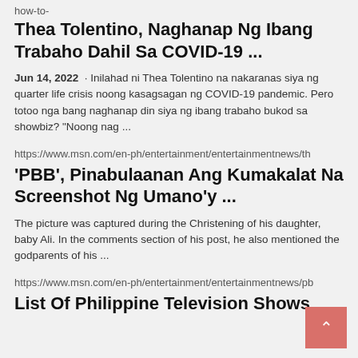how-to-
Thea Tolentino, Naghanap Ng Ibang Trabaho Dahil Sa COVID-19 ...
Jun 14, 2022 · Inilahad ni Thea Tolentino na nakaranas siya ng quarter life crisis noong kasagsagan ng COVID-19 pandemic. Pero totoo nga bang naghanap din siya ng ibang trabaho bukod sa showbiz? "Noong nag ...
https://www.msn.com/en-ph/entertainment/entertainmentnews/th
'PBB', Pinabulaanan Ang Kumakalat Na Screenshot Ng Umano'y ...
The picture was captured during the Christening of his daughter, baby Ali. In the comments section of his post, he also mentioned the godparents of his ...
https://www.msn.com/en-ph/entertainment/entertainmentnews/pb
List Of Philippine Television Shows